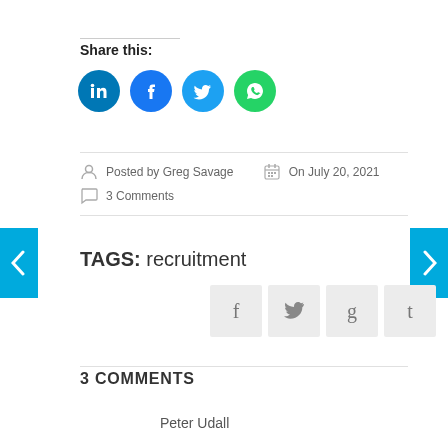Share this:
[Figure (infographic): Four social sharing icon circles: LinkedIn (blue), Facebook (blue), Twitter (light blue), WhatsApp (green)]
Posted by Greg Savage   On July 20, 2021   3 Comments
TAGS: recruitment
[Figure (infographic): Four social share buttons: f (Facebook), bird (Twitter), g (Google+), t (Tumblr)]
3 COMMENTS
Peter Udall